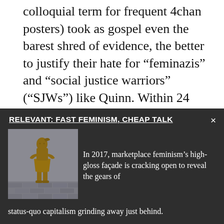colloquial term for frequent 4chan posters) took as gospel even the barest shred of evidence, the better to justify their hate for “feminazis” and “social justice warriors” (“SJWs”) like Quinn. Within 24 hours, they had embarked on what would become a massive harassment campaign, sending abusive and threatening messages to Quinn every day for months. “We need to punish her for this shit,” an anonymous poster wrote on 4chan. “We don’t move to kill, but give her a crippling injury…I’d say brain
RELEVANT: FAST FEMINISM, CHEAP TALK
[Figure (photo): Bronze statue of a girl standing defiantly, arms on hips, facing forward — the Fearless Girl statue]
In 2017, marketplace feminism’s high-gloss façade is cracking open to reveal the gears of status-quo capitalism grinding away just behind.